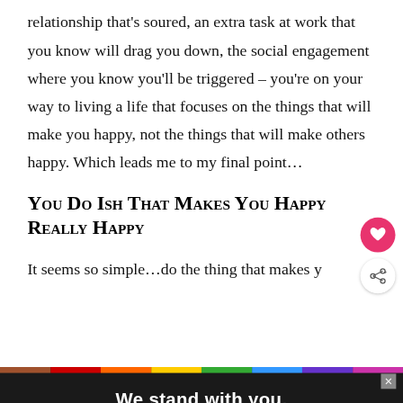relationship that's soured, an extra task at work that you know will drag you down, the social engagement where you know you'll be triggered – you're on your way to living a life that focuses on the things that will make you happy, not the things that will make others happy. Which leads me to my final point…
You Do Ish That Makes You Happy Really Happy
It seems so simple…do the thing that makes y… But…
[Figure (other): Advertisement banner at bottom: rainbow stripe, dark background with text 'We stand with you.' in white bold Arial, close button, and Thrasher logo]